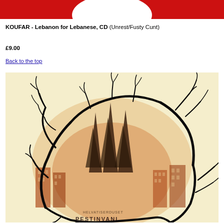[Figure (illustration): Red banner at top of page with white circle/logo partially visible]
KOUFAR - Lebanon for Lebanese, CD (Unrest/Fusty Cunt)
£9.00
Back to the top
[Figure (illustration): Album artwork showing bare black tree branches forming a circular wreath shape over a sepia-toned cityscape with tall pine trees and ruined buildings. Text at bottom reads partially visible letters.]